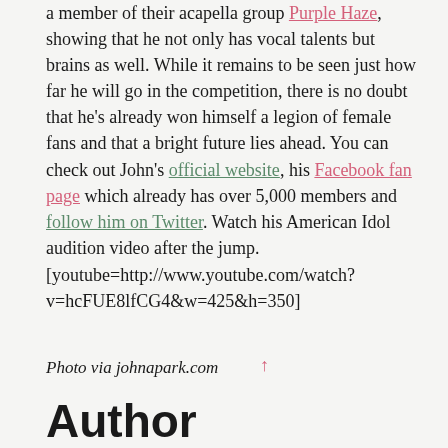a member of their acapella group Purple Haze, showing that he not only has vocal talents but brains as well. While it remains to be seen just how far he will go in the competition, there is no doubt that he's already won himself a legion of female fans and that a bright future lies ahead. You can check out John's official website, his Facebook fan page which already has over 5,000 members and follow him on Twitter. Watch his American Idol audition video after the jump.
[youtube=http://www.youtube.com/watch?v=hcFUE8lfCG4&w=425&h=350]
Photo via johnapark.com
Author